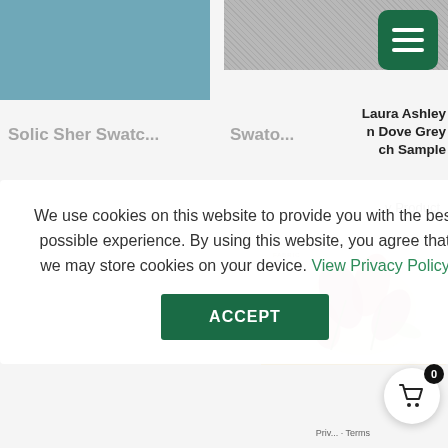[Figure (screenshot): E-commerce website screenshot showing fabric swatch products (Laura Ashley) with a cookie consent overlay in the foreground. Top left shows a teal/blue fabric swatch, top right shows a grey linen fabric swatch with a green hamburger menu button. Below are product titles and product cards partially obscured by the cookie notice. Bottom row shows Laura Ashley Saunton Natural Swatch Sample and Laura Ashley Gosford Cranberry Swatch Sample cards. A shopping cart button with badge '0' is visible bottom right.]
We use cookies on this website to provide you with the best possible experience. By using this website, you agree that we may store cookies on your device. View Privacy Policy
ACCEPT
Laura Ashley Dove Grey Swatch Sample
View Product
Laura Ashley Saunton Natural – Swatch Sample
View Product
Laura Ashley Gosford Cranberry – Swatch Sample
View Product
Privacy · Terms